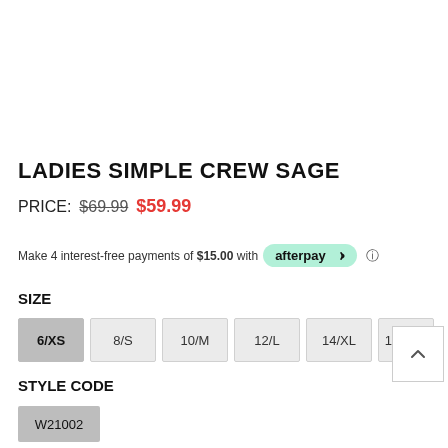LADIES SIMPLE CREW SAGE
PRICE: $69.99 $59.99
Make 4 interest-free payments of $15.00 with afterpay
SIZE
6/XS
8/S
10/M
12/L
14/XL
16/XXL
STYLE CODE
W21002